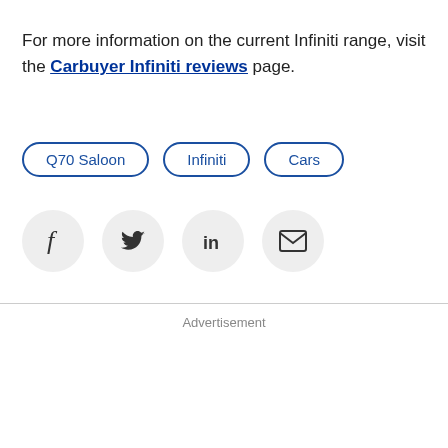For more information on the current Infiniti range, visit the Carbuyer Infiniti reviews page.
Q70 Saloon
Infiniti
Cars
[Figure (other): Social share icons: Facebook, Twitter, LinkedIn, Email]
Advertisement